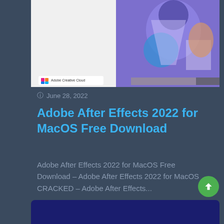[Figure (screenshot): Adobe Creative Cloud promotional image with illustrated characters and blue/purple gradient background]
June 28, 2022
Adobe After Effects 2022 for MacOS Free Download
Adobe After Effects 2022 for MacOS Free Download – Adobe After Effects 2022 for MacOS CRACKED – Adobe After Effects...
[Figure (logo): Adobe Premiere Pro logo - dark navy blue background with 'Pr' text in light purple/lavender color]